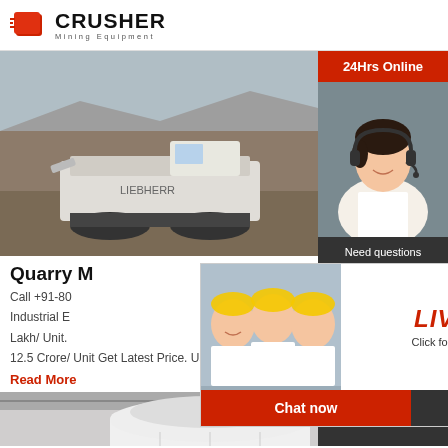[Figure (logo): Crusher Mining Equipment logo with red shopping bag icon and bold text]
[Figure (photo): Quarry machine / mobile crusher on tracks at a quarry site with rocky terrain]
Quarry M…
Call +91-80…
Industrial E…
Lakh/ Unit.
12.5 Crore/ Unit Get Latest Price. Usage/Applic…
Read More
[Figure (photo): Large white industrial Raymond mill / grinding mill machine inside a factory]
[Figure (photo): Live Chat popup overlay showing agents in hard hats with LIVE CHAT text and Chat now / Chat later buttons]
24Hrs Online
[Figure (photo): Customer service agent woman with headset on dark sidebar]
Need questions & suggestion?
Chat Now
Enquiry
limingjlmofen@sina.com